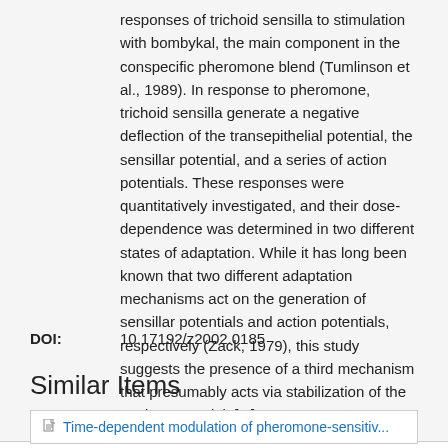responses of trichoid sensilla to stimulation with bombykal, the main component in the conspecific pheromone blend (Tumlinson et al., 1989). In response to pheromone, trichoid sensilla generate a negative deflection of the transepithelial potential, the sensillar potential, and a series of action potentials. These responses were quantitatively investigated, and their dose-dependence was determined in two different states of adaptation. While it has long been known that two different adaptation mechanisms act on the generation of sensillar potentials and action potentials, respectively (Zack, 1979), this study suggests the presence of a third mechanism that presumably acts via stabilization of the resting potential. [...]
DOI: 10.17192/z2002.0185
Similar Items
Time-dependent modulation of pheromone-sensitive...